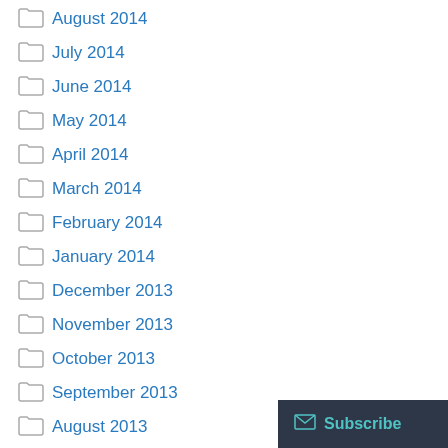August 2014
July 2014
June 2014
May 2014
April 2014
March 2014
February 2014
January 2014
December 2013
November 2013
October 2013
September 2013
August 2013
July 2013
June 2013
May 2013
Subscribe